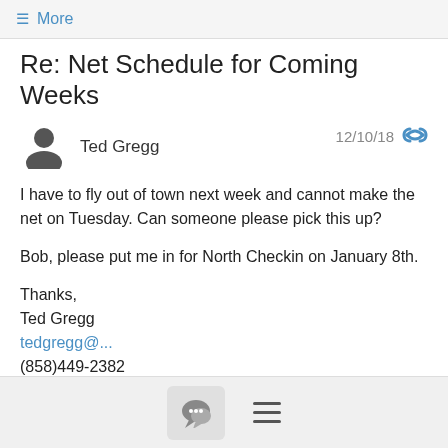≡ More
Re: Net Schedule for Coming Weeks
Ted Gregg  12/10/18
I have to fly out of town next week and cannot make the net on Tuesday. Can someone please pick this up?

Bob, please put me in for North Checkin on January 8th.

Thanks,
Ted Gregg
tedgregg@...
(858)449-2382
Show quoted text
[chat icon] [menu icon]